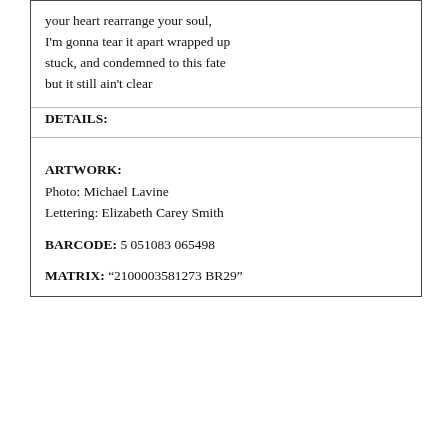your heart rearrange your soul,
I'm gonna tear it apart wrapped up
stuck, and condemned to this fate
but it still ain't clear
DETAILS:
ARTWORK:
Photo: Michael Lavine
Lettering: Elizabeth Carey Smith

BARCODE: 5 051083 065498

MATRIX: “2100003581273 BR29”